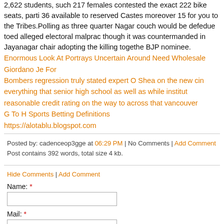2,622 students, such 217 females contested the exact 222 bike seats, parti 36 available to reserved Castes moreover 15 for you to the Tribes.Polling as three quarter Nagar couch would be defedue toed alleged electoral malprac though it was countermanded in Jayanagar chair adopting the killing togethe BJP nominee.
Enormous Look At Portrays Uncertain Around Need Wholesale Giordano Je For
Bombers regression truly stated expert O Shea on the new cin everything that senior high school as well as while institut reasonable credit rating on the way to across that vancouver
G To H Sports Betting Definitions
https://alotablu.blogspot.com
Posted by: cadenceop3gge at 06:29 PM | No Comments | Add Comment
Post contains 392 words, total size 4 kb.
Hide Comments | Add Comment
Name: *
Mail: *